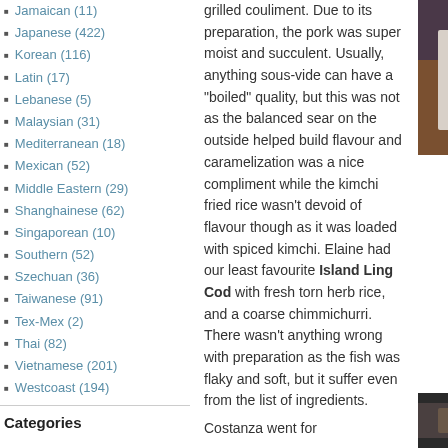Jamaican (11)
Japanese (422)
Korean (116)
Latin (17)
Lebanese (5)
Malaysian (31)
Mediterranean (18)
Mexican (52)
Middle Eastern (29)
Shanghainese (62)
Singaporean (10)
Southern (52)
Szechuan (36)
Taiwanese (91)
Tex-Mex (2)
Thai (82)
Vietnamese (201)
Westcoast (194)
Categories
[Figure (photo): Photo of a plated dish on a white rectangular plate with greens and orange sauce elements on a wooden surface]
grilled couliment. Due to its preparation, the pork was super moist and succulent. Usually, anything sous-vide can have a "boiled" quality, but this was not as the balanced sear on the outside helped build flavour and caramelization was a nice compliment while the kimchi fried rice wasn't devoid of flavour though as it was loaded with spiced kimchi. Elaine had our least favourite Island Ling Cod with fresh torn herb rice, and a coarse chimmichurri. There wasn't anything wrong with preparation as the fish was flaky and soft, but it suffer even from the list of ingredients.
Costanza went for